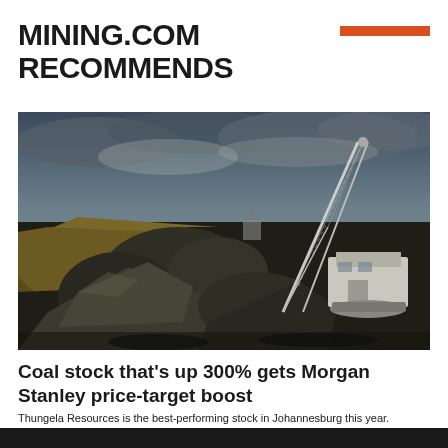MINING.COM RECOMMENDS
[Figure (photo): Open-cut coal mine with large dragline excavator crane, rocks and coal in the foreground, overcast dramatic sky in background.]
Coal stock that's up 300% gets Morgan Stanley price-target boost
Thungela Resources is the best-performing stock in Johannesburg this year.
Bloomberg News | August 24, 2022 | 8:09 am